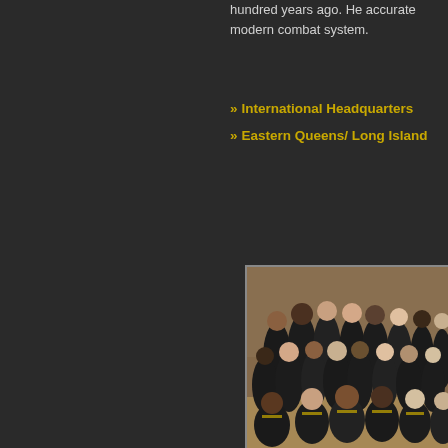hundred years ago. He accurate modern combat system.
» International Headquarters
» Eastern Queens/ Long Island
[Figure (photo): Group photo of martial arts students and instructors wearing black and gold uniforms in a brick-walled dojo/gym.]